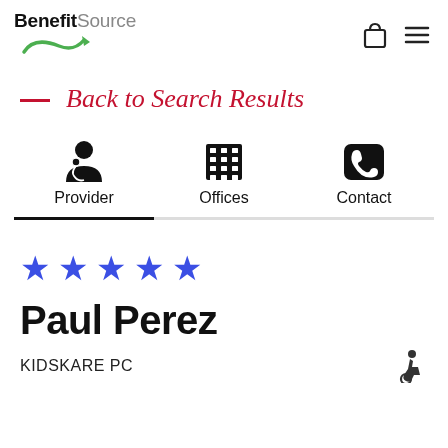[Figure (logo): BenefitSource logo with green circular arrow and shopping bag and hamburger menu icons]
— Back to Search Results
[Figure (infographic): Three navigation tabs: Provider (active, with doctor icon), Offices (with building icon), Contact (with phone icon)]
[Figure (infographic): Five blue star rating]
Paul Perez
KIDSKARE PC